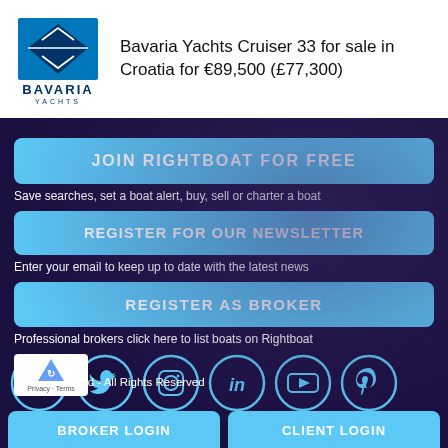Bavaria Yachts Cruiser 33 for sale in Croatia for €89,500 (£77,300)
JOIN RIGHTBOAT FOR FREE
Save searches, set a boat alert, buy, sell or charter a boat
REGISTER FOR OUR NEWSLETTER
Enter your email to keep up to date with the latest news
REGISTER AS BROKER
Professional brokers click here to list boats on Rightboat
[Figure (illustration): Row of six circular social media icons: Facebook, Twitter, Instagram, LinkedIn, YouTube, Pinterest — light blue circles with white icons on dark background]
© Rightboat Ltd - All Rights Reserved
BROKER LOGIN
CLIENT LOGIN